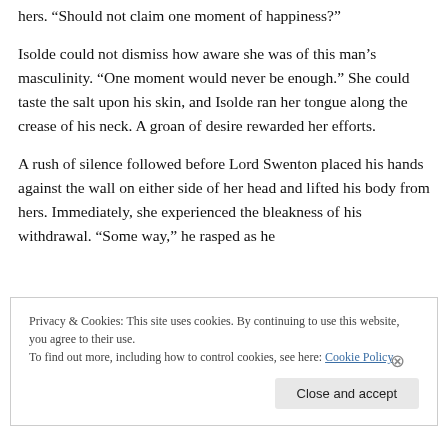hers. “Should not claim one moment of happiness?”
Isolde could not dismiss how aware she was of this man’s masculinity. “One moment would never be enough.” She could taste the salt upon his skin, and Isolde ran her tongue along the crease of his neck. A groan of desire rewarded her efforts.
A rush of silence followed before Lord Swenton placed his hands against the wall on either side of her head and lifted his body from hers. Immediately, she experienced the bleakness of his withdrawal. “Some way,” he rasped as he
Privacy & Cookies: This site uses cookies. By continuing to use this website, you agree to their use.
To find out more, including how to control cookies, see here: Cookie Policy
Close and accept